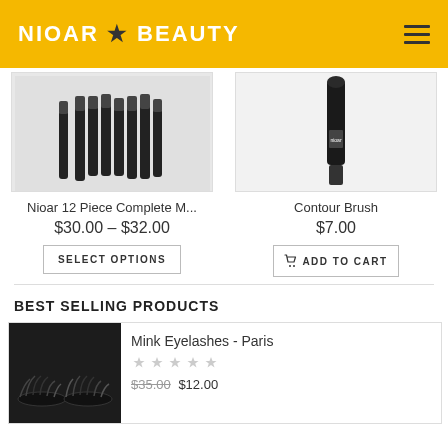NIOAR ★ BEAUTY
[Figure (photo): Nioar 12 Piece Complete Makeup Brush Set product image showing black brush handles with bristles]
Nioar 12 Piece Complete M...
$30.00 – $32.00
SELECT OPTIONS
[Figure (photo): Contour Brush product image showing a single black makeup brush on light grey background]
Contour Brush
$7.00
ADD TO CART
BEST SELLING PRODUCTS
[Figure (photo): Mink Eyelashes - Paris product thumbnail showing two sets of black mink eyelashes on dark background]
Mink Eyelashes - Paris
$35.00 $12.00